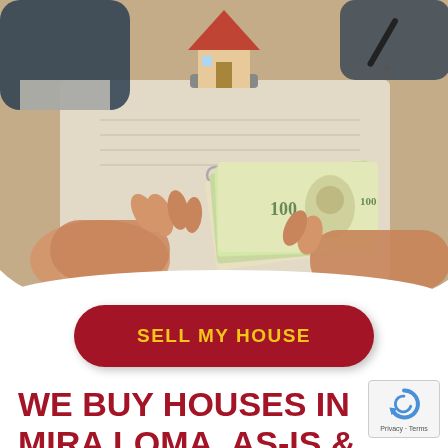[Figure (photo): Two people at a desk exchanging cash (US $100 bills), with a small wooden house model, keys, and documents on the table. A real estate transaction scene photographed from above.]
SELL MY HOUSE
WE BUY HOUSES IN MIRA LOMA, AS-IS & FOR ALL CASH